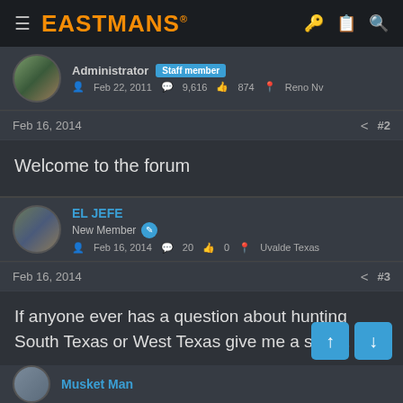EASTMANS
Administrator   Staff member   Feb 22, 2011   9,616   874   Reno Nv
Feb 16, 2014   #2
Welcome to the forum
EL JEFE   New Member   Feb 16, 2014   20   0   Uvalde Texas
Feb 16, 2014   #3
If anyone ever has a question about hunting South Texas or West Texas give me a shout.
Musket Man